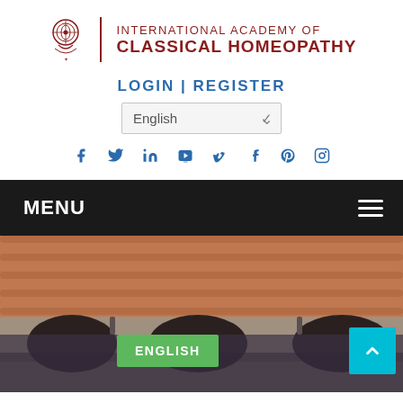[Figure (logo): International Academy of Classical Homeopathy logo with emblem and text]
LOGIN | REGISTER
[Figure (screenshot): Language selector dropdown showing English with chevron]
[Figure (infographic): Social media icons: Facebook, Twitter, LinkedIn, YouTube, Vimeo, Tumblr, Pinterest, Instagram]
[Figure (screenshot): Black menu bar with MENU text and hamburger icon]
[Figure (photo): Photo of a Mediterranean-style stone building with terracotta roof tiles and arches, with a large group of people standing in front. Green ENGLISH button overlay and cyan scroll-to-top button.]